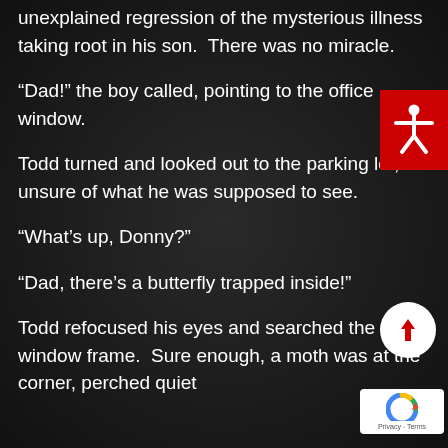unexplained regression of the mysterious illness taking root in his son. There was no miracle.
“Dad!” the boy called, pointing to the office window.
Todd turned and looked out to the parking lot, unsure of what he was supposed to see.
“What’s up, Donny?”
“Dad, there’s a butterfly trapped inside!”
Todd refocused his eyes and searched the window frame. Sure enough, a moth was at the corner, perched quiet
[Figure (illustration): Red accessibility button with white human figure icon (arms outstretched), positioned top-right corner.]
[Figure (illustration): White circular scroll-to-top button with red upward arrow, bottom-right area.]
[Figure (illustration): Google reCAPTCHA badge with logo and Privacy-Terms text, bottom-right corner.]